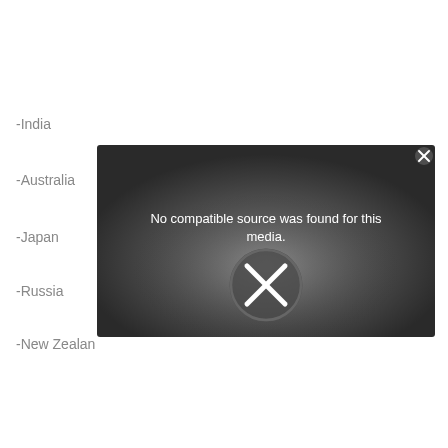-India
-Australia
-Japan
-Russia
-New Zealand
[Figure (screenshot): Video player error overlay showing 'No compatible source was found for this media.' with an X icon on a dark gray background, and a close button in the top right corner.]